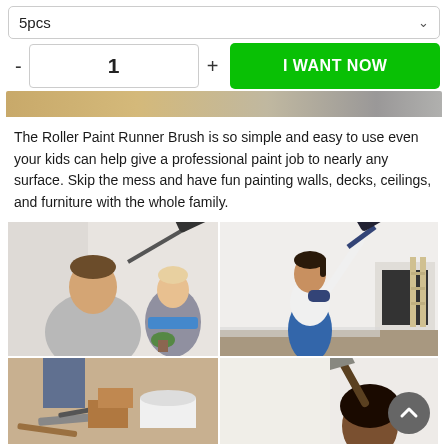[Figure (screenshot): Dropdown selector showing '5pcs' with a chevron arrow on the right]
[Figure (screenshot): Quantity selector with minus button, input showing '1', plus button, and green 'I WANT NOW' button]
[Figure (photo): Partial top strip of a product image showing a wooden surface background]
The Roller Paint Runner Brush is so simple and easy to use even your kids can help give a professional paint job to nearly any surface. Skip the mess and have fun painting walls, decks, ceilings, and furniture with the whole family.
[Figure (photo): Photo collage of people using paint roller brushes: man smiling with paint roller, woman painting wall with extended roller, woman painting wall in room, and person holding paint tool]